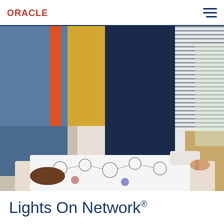ORACLE
[Figure (photo): Multiple people standing around a table, leaning over and pointing at network diagram sketches on paper. People are wearing casual and business-casual clothing — jeans, a yellow jacket, navy pants, a striped shirt. The photo focuses on their hands and torsos.]
Lights On Network®